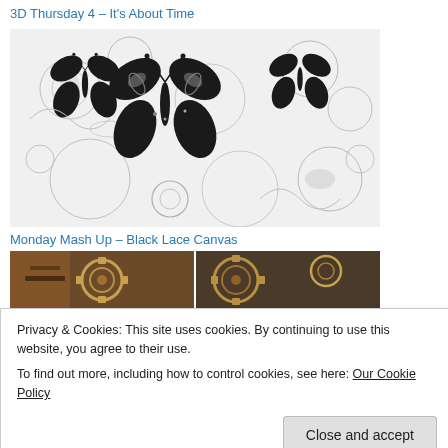3D Thursday 4 – It's About Time
[Figure (photo): Close-up photo of black decorative butterfly/flower shapes on a white lace-patterned background with intricate floral and scroll designs]
Monday Mash Up – Black Lace Canvas
[Figure (photo): Partial view of craft/steampunk style artwork with gears and warm brown tones, partially obscured by cookie banner]
Privacy & Cookies: This site uses cookies. By continuing to use this website, you agree to their use.
To find out more, including how to control cookies, see here: Our Cookie Policy
[Figure (photo): Bottom strip of warm-toned craft artwork with orange and dark brown tones]